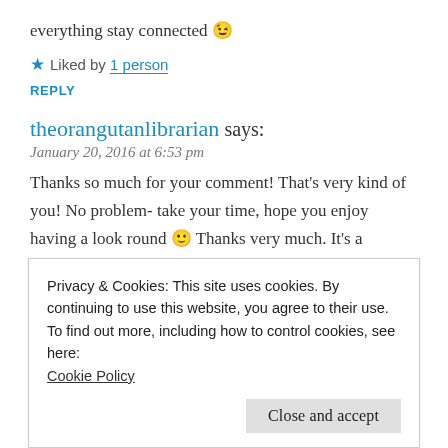everything stay connected 😉
★ Liked by 1 person
REPLY
theorangutanlibrarian says:
January 20, 2016 at 6:53 pm
Thanks so much for your comment! That's very kind of you! No problem- take your time, hope you enjoy having a look round 🙂 Thanks very much. It's a superhero story- one of my main reasons for wanting to do it that way instead of just writing the story is because of the rich history of superheroes in comics- and while I don't want to do it as a comic, I don't
Privacy & Cookies: This site uses cookies. By continuing to use this website, you agree to their use.
To find out more, including how to control cookies, see here: Cookie Policy
Close and accept